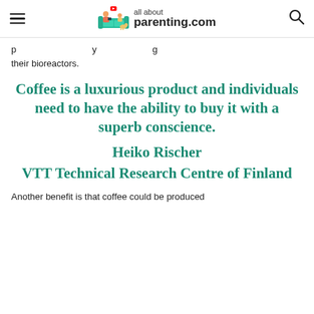all about parenting.com
p … y … g their bioreactors.
Coffee is a luxurious product and individuals need to have the ability to buy it with a superb conscience.
Heiko Rischer
VTT Technical Research Centre of Finland
Another benefit is that coffee could be produced